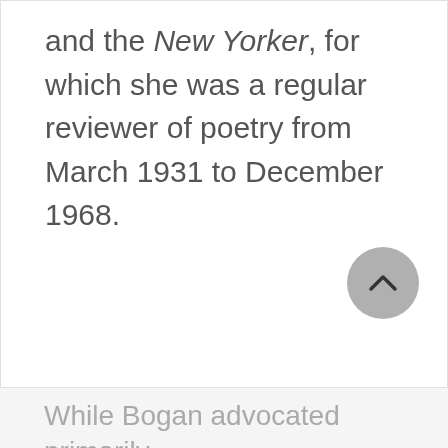and the New Yorker, for which she was a regular reviewer of poetry from March 1931 to December 1968.
While Bogan advocated primarily formal poetry, in Eliot's and...